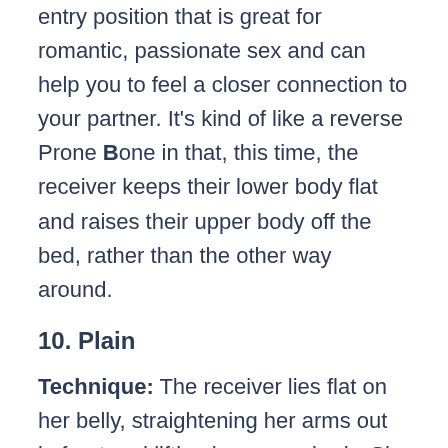entry position that is great for romantic, passionate sex and can help you to feel a closer connection to your partner. It's kind of like a reverse Prone Bone in that, this time, the receiver keeps their lower body flat and raises their upper body off the bed, rather than the other way around.
10. Plain
Technique: The receiver lies flat on her belly, straightening her arms out in front and lifting her upper body. She bends her legs at the knees while he lies on top of her, supporting his weight by placing his palms on the bed on either side of her and straightening his arms.